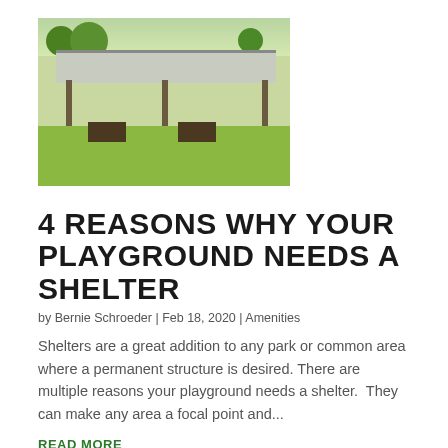[Figure (photo): Outdoor picnic shelter/pavilion with green metal roof, picnic tables underneath, surrounded by trees and green grass]
4 REASONS WHY YOUR PLAYGROUND NEEDS A SHELTER
by Bernie Schroeder | Feb 18, 2020 | Amenities
Shelters are a great addition to any park or common area where a permanent structure is desired. There are multiple reasons your playground needs a shelter.  They can make any area a focal point and...
READ MORE